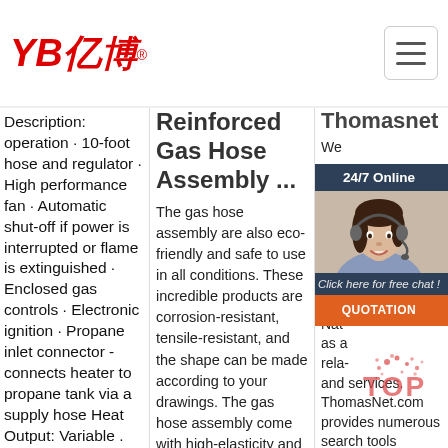[Figure (logo): YB亿博 logo in red italic text with registered trademark symbol and hamburger menu icon]
Description: operation · 10-foot hose and regulator · High performance fan · Automatic shut-off if power is interrupted or flame is extinguished · Enclosed gas controls · Electronic ignition · Propane inlet connector - connects heater to propane tank via a supply hose Heat Output: Variable . Fuel Energy Source: Natural Gas Propane Heating Capacity: 11.72 to 110 kW
Reinforced Gas Hose Assembly ...
The gas hose assembly are also eco-friendly and safe to use in all conditions. These incredible products are corrosion-resistant, tensile-resistant, and the shape can be made according to your drawings. The gas hose assembly come with high-elasticity and are thick, ...
Thomasnet
We pre- sou Nat com in th listin com ran- Nat as a rela- and services. ThomasNet.com provides numerous search tools including location, certification and keyword filters, to
[Figure (infographic): 24/7 Online chat widget with photo of woman with headset, dark blue background, Click here for free chat text, and orange QUOTATION button]